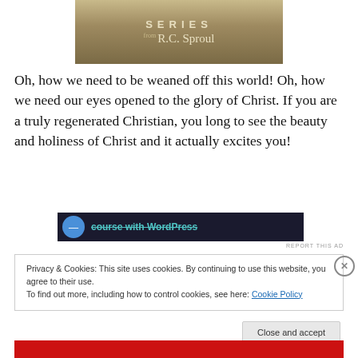[Figure (illustration): Book series banner with 'SERIES from R.C. Sproul' text on a brown/tan background]
Oh, how we need to be weaned off this world! Oh, how we need our eyes opened to the glory of Christ. If you are a truly regenerated Christian, you long to see the beauty and holiness of Christ and it actually excites you!
[Figure (screenshot): Dark advertisement banner showing 'course with WordPress' text with a circular icon]
REPORT THIS AD
Privacy & Cookies: This site uses cookies. By continuing to use this website, you agree to their use.
To find out more, including how to control cookies, see here: Cookie Policy
Close and accept